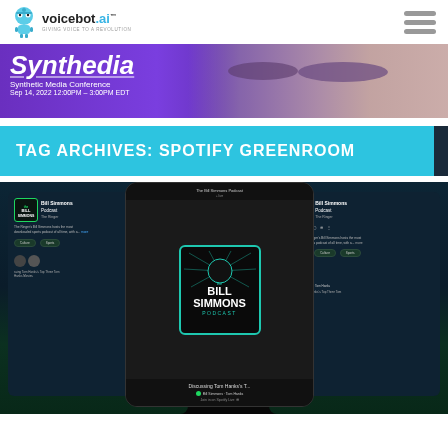voicebot.ai - GIVING VOICE TO A REVOLUTION
[Figure (illustration): Synthedia Synthetic Media Conference banner. Sep 14, 2022 12:00PM - 3:00PM EDT. Purple gradient background with close-up of eyes on right side.]
TAG ARCHIVES: SPOTIFY GREENROOM
[Figure (screenshot): Three smartphone screens showing The Bill Simmons Podcast on Spotify. Center phone shows the podcast logo with teal border. Left and right phones show the podcast listing page with Live badge and tags for Culture and Sports.]